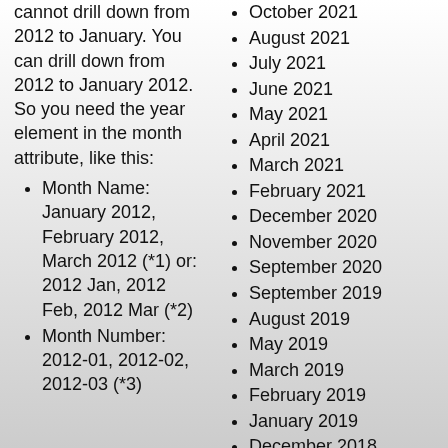cannot drill down from 2012 to January. You can drill down from 2012 to January 2012. So you need the year element in the month attribute, like this:
Month Name: January 2012, February 2012, March 2012 (*1) or: 2012 Jan, 2012 Feb, 2012 Mar (*2)
Month Number: 2012-01, 2012-02, 2012-03 (*3)
October 2021
August 2021
July 2021
June 2021
May 2021
April 2021
March 2021
February 2021
December 2020
November 2020
September 2020
September 2019
August 2019
May 2019
March 2019
February 2019
January 2019
December 2018
November 2018
October 2018
September 2018
July 2018
June 2018
May 2018